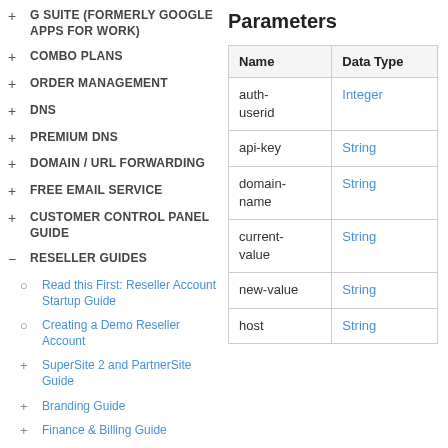+ G SUITE (FORMERLY GOOGLE APPS FOR WORK)
+ COMBO PLANS
+ ORDER MANAGEMENT
+ DNS
+ PREMIUM DNS
+ DOMAIN / URL FORWARDING
+ FREE EMAIL SERVICE
+ CUSTOMER CONTROL PANEL GUIDE
- RESELLER GUIDES
○ Read this First: Reseller Account Startup Guide
○ Creating a Demo Reseller Account
+ SuperSite 2 and PartnerSite Guide
+ Branding Guide
+ Finance & Billing Guide
Parameters
| Name | Data Type |
| --- | --- |
| auth-userid | Integer |
| api-key | String |
| domain-name | String |
| current-value | String |
| new-value | String |
| host | String |